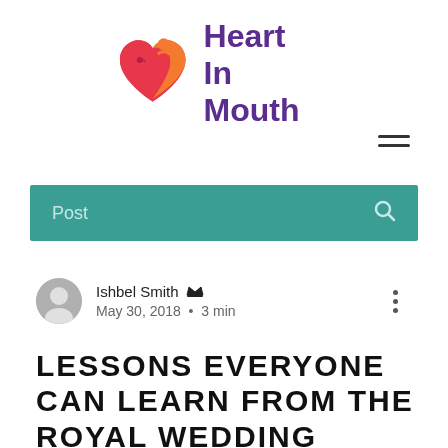[Figure (logo): Heart In Mouth logo with a heart icon (orange and pink tones with a small bird/figure) and purple bold text reading 'Heart In Mouth']
[Figure (other): Hamburger menu icon (three horizontal lines)]
Post
Ishbel Smith  admin
May 30, 2018  •  3 min
LESSONS EVERYONE CAN LEARN FROM THE ROYAL WEDDING SERMON